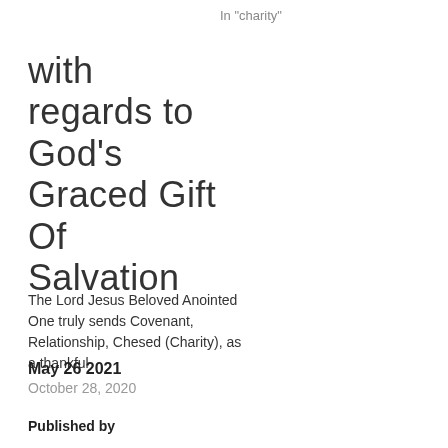In "charity"
with regards to God’s Graced Gift Of Salvation
The Lord Jesus Beloved Anointed One truly sends Covenant, Relationship, Chesed (Charity), as a thankful
October 28, 2020
May 26 2021
Published by